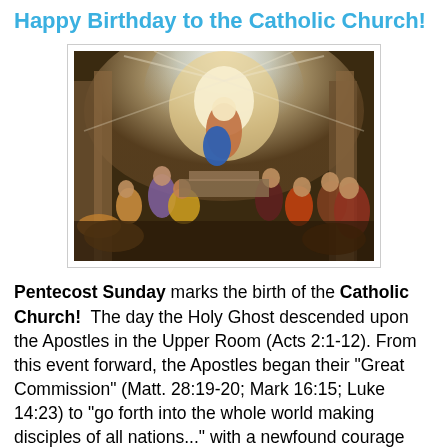Happy Birthday to the Catholic Church!
[Figure (illustration): A classical religious painting depicting the Pentecost — the descent of the Holy Ghost upon the Apostles and Mary in the Upper Room, with rays of divine light shining from above, figures in dramatic poses surrounding a central glowing figure.]
Pentecost Sunday marks the birth of the Catholic Church!  The day the Holy Ghost descended upon the Apostles in the Upper Room (Acts 2:1-12). From this event forward, the Apostles began their "Great Commission" (Matt. 28:19-20; Mark 16:15; Luke 14:23) to "go forth into the whole world making disciples of all nations..." with a newfound courage and fury.  They came out from the Upper Room speaking the languages of all who were there for the